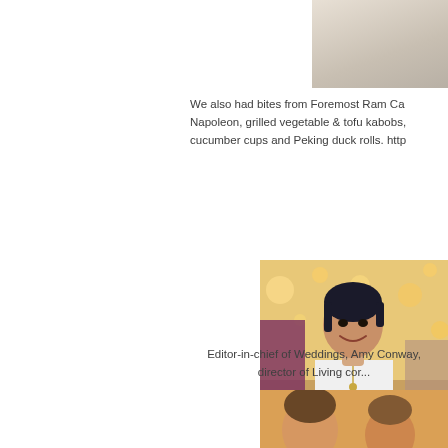[Figure (photo): Partial photo at top right, appears to be fabric or cloth, cropped]
We also had bites from Foremost Ram Ca... Napoleon, grilled vegetable & tofu kabobs, cucumber cups and Peking duck rolls. http...
[Figure (photo): Woman with short dark hair, wearing a white and black patterned sleeveless dress, smiling and holding a plate at an event with warm lights in the background]
Editor-in-chief of Weddings, Amy Conway, director of Living cor...
[Figure (photo): Partial photo at bottom right, two people visible, warm orange lighting]